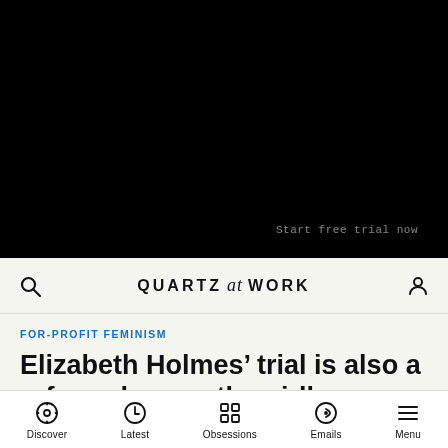[Figure (other): Black video/advertisement area with 'Start free trial now' text overlay]
QUARTZ at WORK
FOR-PROFIT FEMINISM
Elizabeth Holmes’ trial is also a referendum on the girlboss era
Discover  Latest  Obsessions  Emails  Menu